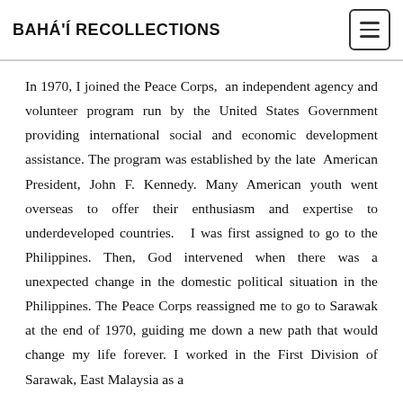BAHÁ'Í RECOLLECTIONS
In 1970, I joined the Peace Corps, an independent agency and volunteer program run by the United States Government providing international social and economic development assistance. The program was established by the late American President, John F. Kennedy. Many American youth went overseas to offer their enthusiasm and expertise to underdeveloped countries. I was first assigned to go to the Philippines. Then, God intervened when there was a unexpected change in the domestic political situation in the Philippines. The Peace Corps reassigned me to go to Sarawak at the end of 1970, guiding me down a new path that would change my life forever. I worked in the First Division of Sarawak, East Malaysia as a